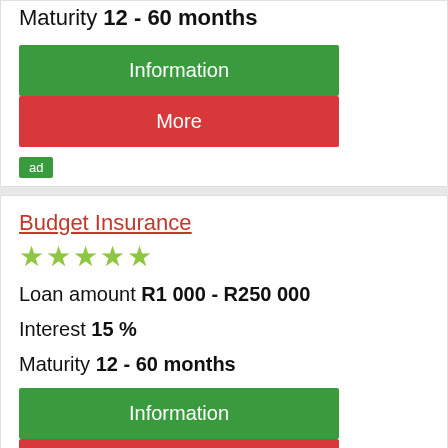Maturity 12 - 60 months
Information
More
ad
Budget Insurance
★★★★★
Loan amount R1 000 - R250 000
Interest 15 %
Maturity 12 - 60 months
Information
More
ad